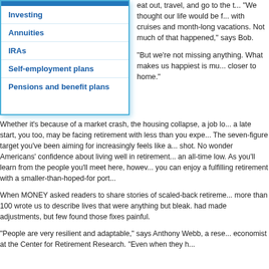Investing
Annuities
IRAs
Self-employment plans
Pensions and benefit plans
eat out, travel, and go to the t... "We thought our life would be f... with cruises and month-long vacations. Not much of that happened," says Bob.
"But we're not missing anything. What makes us happiest is mu... closer to home."
Whether it's because of a market crash, the housing collapse, a job lo... a late start, you too, may be facing retirement with less than you expe... The seven-figure target you've been aiming for increasingly feels like a... shot. No wonder Americans' confidence about living well in retirement... an all-time low. As you'll learn from the people you'll meet here, however, you can enjoy a fulfilling retirement with a smaller-than-hoped-for port...
When MONEY asked readers to share stories of scaled-back retireme... more than 100 wrote us to describe lives that were anything but bleak. had made adjustments, but few found those fixes painful.
"People are very resilient and adaptable," says Anthony Webb, a rese... economist at the Center for Retirement Research. "Even when they h...